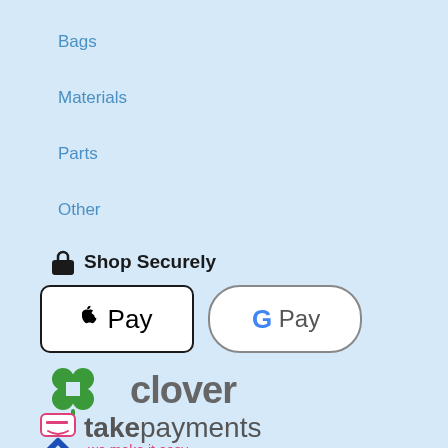Bags
Materials
Parts
Other
🔒 Shop Securely
[Figure (logo): Apple Pay and Google Pay payment logos side by side]
[Figure (logo): Clover payment logo with green four-leaf clover icon]
[Figure (logo): takepayments logo with tagline 'we make it easy']
[Figure (logo): Partial blue logo at bottom of page]